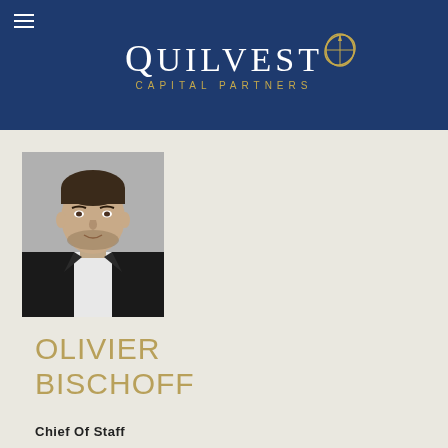[Figure (logo): Quilvest Capital Partners logo with compass rose icon on dark navy blue background]
[Figure (photo): Black and white professional headshot of Olivier Bischoff, a man in a dark blazer with light shirt, on a beige background]
OLIVIER BISCHOFF
Chief Of Staff